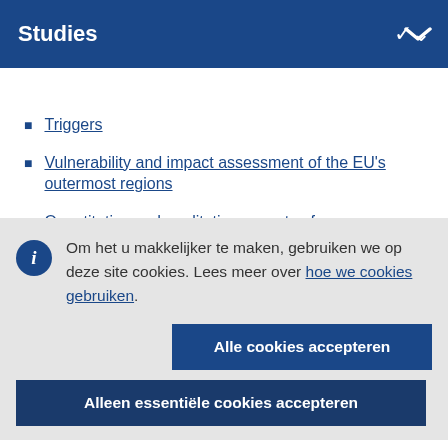Studies
Triggers
Vulnerability and impact assessment of the EU's outermost regions
Quantitative and qualitative aspects of
Om het u makkelijker te maken, gebruiken we op deze site cookies. Lees meer over hoe we cookies gebruiken.
Alle cookies accepteren
Alleen essentiële cookies accepteren